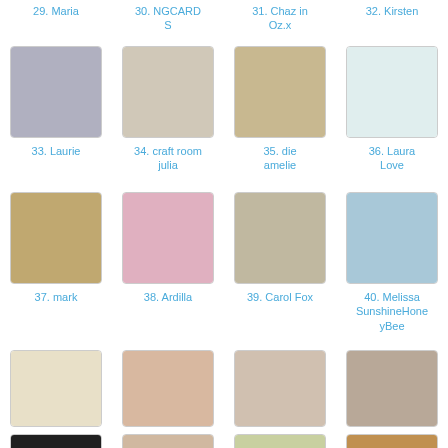29. Maria
30. NGCARDS
31. Chaz in Oz.x
32. Kirsten
33. Laurie
34. craft room julia
35. die amelie
36. Laura Love
37. mark
38. Ardilla
39. Carol Fox
40. Melissa SunshineHoneyBee
41. kbrandy4
42. Liva Kalnina
43. Mummylade
44. Birgit
45.
46.
47.
48.